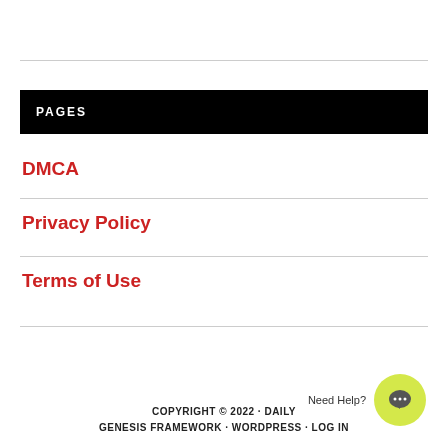PAGES
DMCA
Privacy Policy
Terms of Use
COPYRIGHT © 2022 · DAILY GENESIS FRAMEWORK · WORDPRESS · LOG IN